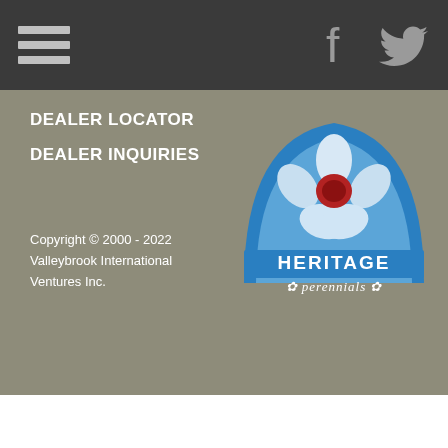Navigation menu, Facebook and Twitter icons
DEALER LOCATOR
DEALER INQUIRIES
Copyright © 2000 - 2022 Valleybrook International Ventures Inc.
[Figure (logo): Heritage Perennials logo — a stylized flower (white petals, red center, green leaves) inside a blue arch, with 'HERITAGE perennials' text below]